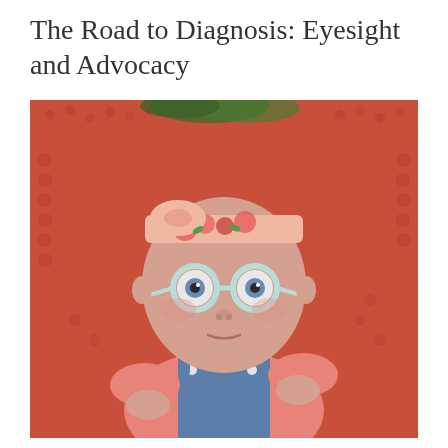The Road to Diagnosis: Eyesight and Advocacy
[Figure (photo): A baby girl wearing round light blue glasses and a floral headband with pink bow, dressed in a pink long-sleeve shirt and denim overalls with polka-dot buttons, lying on a textured red-orange blanket and looking up at the camera.]